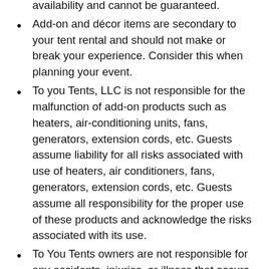availability and cannot be guaranteed.
Add-on and décor items are secondary to your tent rental and should not make or break your experience. Consider this when planning your event.
To you Tents, LLC is not responsible for the malfunction of add-on products such as heaters, air-conditioning units, fans, generators, extension cords, etc. Guests assume liability for all risks associated with use of heaters, air conditioners, fans, generators, extension cords, etc. Guests assume all responsibility for the proper use of these products and acknowledge the risks associated with its use.
To You Tents owners are not responsible for any accidents, injuries, or illness that occurs with the